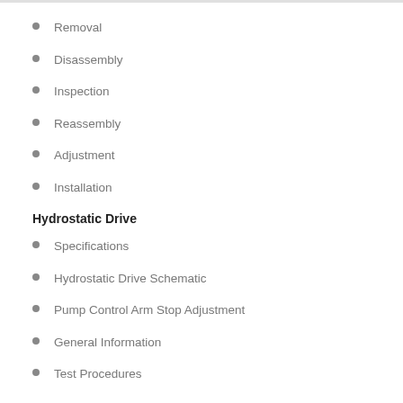Removal
Disassembly
Inspection
Reassembly
Adjustment
Installation
Hydrostatic Drive
Specifications
Hydrostatic Drive Schematic
Pump Control Arm Stop Adjustment
General Information
Test Procedures